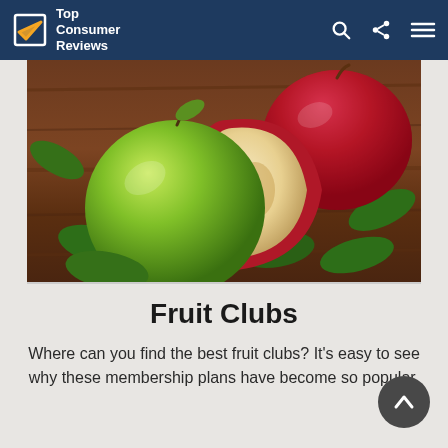Top Consumer Reviews
[Figure (photo): Photo of green apple and halved red apple on wooden surface with green leaves]
Fruit Clubs
Where can you find the best fruit clubs? It's easy to see why these membership plans have become so popular.